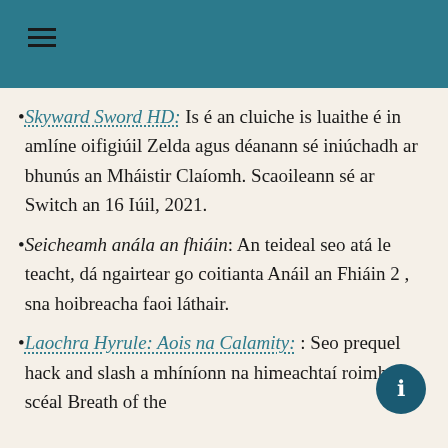≡ (navigation header bar)
Skyward Sword HD: Is é an cluiche is luaithe é in amlíne oifigiúil Zelda agus déanann sé iniúchadh ar bhunús an Mháistir Claíomh. Scaoileann sé ar Switch an 16 Iúil, 2021.
Seicheamh anála an fhiáin: An teideal seo atá le teacht, dá ngairtear go coitianta Anáil an Fhiáin 2 , sna hoibreacha faoi láthair.
Laochra Hyrule: Aois na Calamity: : Seo prequel hack and slash a mhíníonn na himeachtaí roimh an scéal Breath of the